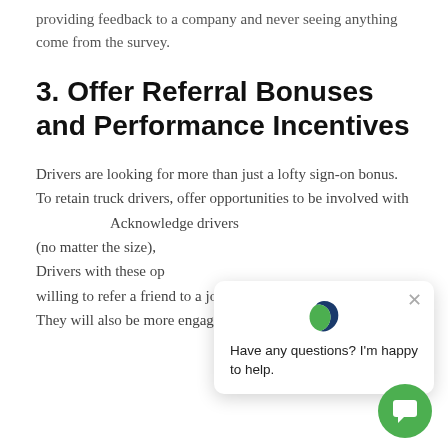providing feedback to a company and never seeing anything come from the survey.
3. Offer Referral Bonuses and Performance Incentives
Drivers are looking for more than just a lofty sign-on bonus. To retain truck drivers, offer opportunities to be involved with community. Acknowledge drivers (no matter the size), Drivers with these opportunities willing to refer a friend to a job opening at their company. They will also be more engaged their work.